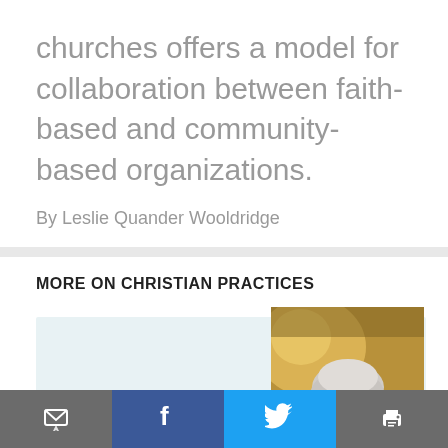churches offers a model for collaboration between faith-based and community-based organizations.
By Leslie Quander Wooldridge
MORE ON CHRISTIAN PRACTICES
[Figure (photo): Portrait photo of an elderly man with white hair and glasses, looking downward, against a warm golden-toned background]
Email | Facebook | Twitter | Print toolbar